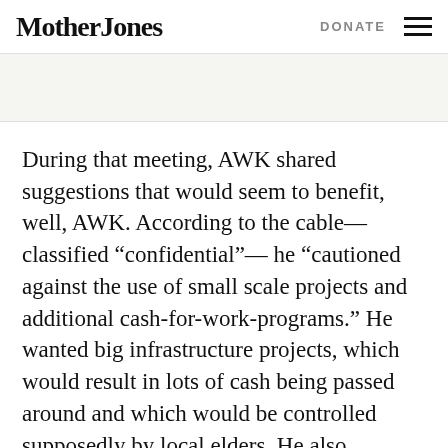Mother Jones  DONATE
During that meeting, AWK shared suggestions that would seem to benefit, well, AWK. According to the cable—classified “confidential”— he “cautioned against the use of small scale projects and additional cash-for-work-programs.” He wanted big infrastructure projects, which would result in lots of cash being passed around and which would be controlled supposedly by local elders. He also proposed, the cable said, that all the local militia commanders providing security to convoys and